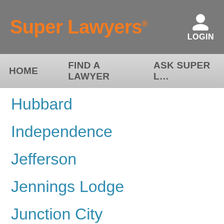Super Lawyers
LOGIN
HOME   FIND A LAWYER   ASK SUPER L…
Hubbard
Independence
Jefferson
Jennings Lodge
Junction City
Keizer
Lake Oswego